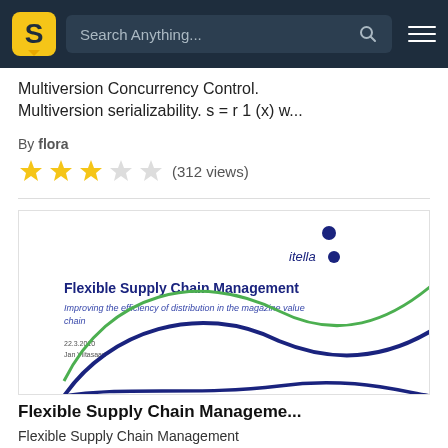Search Anything...
Multiversion Concurrency Control. Multiversion serializability. s = r 1 (x) w...
By flora
(312 views)
[Figure (screenshot): Document thumbnail showing cover page of 'Flexible Supply Chain Management - Improving the efficiency of distribution in the magazine value chain' by Jan Viitasaari, 22.3.2010, with itella logo and decorative wave lines in blue and green]
Flexible Supply Chain Manageme...
Flexible Supply Chain Management